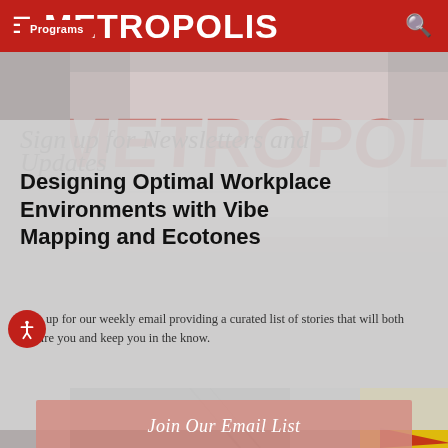METROPOLIS
[Figure (photo): Interior architectural photo showing a lobby or office space with large red METROPOLIS lettering visible in the background]
Programs
Designing Optimal Workplace Environments with Vibe Mapping and Ecotones
Sign up for our weekly email providing a curated list of stories that will both inspire you and keep you in the know.
Join Our Email List
[Figure (photo): Bottom architectural photo showing interior space with industrial ceiling and a yellow triangular shape visible]